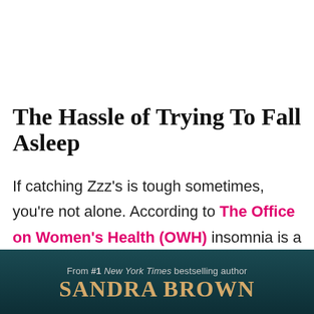The Hassle of Trying To Fall Asleep
If catching Zzz's is tough sometimes, you're not alone. According to The Office on Women's Health (OWH) insomnia is a common sleep disorder — affecting one in four women in the US.
[Figure (other): Advertisement banner for Sandra Brown book. Dark teal background. Text reads: 'From #1 New York Times bestselling author' above large gold text 'SANDRA BROWN'.]